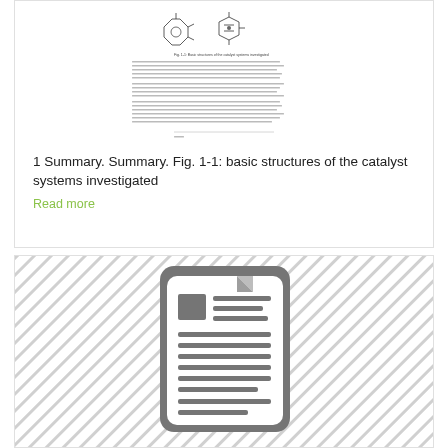[Figure (illustration): Thumbnail preview of a scientific document page showing chemical structures (catalyst systems) and dense text content with a caption 'Fig. 1-1: basic structures of the catalyst systems investigated']
1 Summary. Summary. Fig. 1-1: basic structures of the catalyst systems investigated
Read more
[Figure (illustration): Generic document icon (gray rounded rectangle with a folded corner and lines representing text content) on a diagonal-striped gray background]